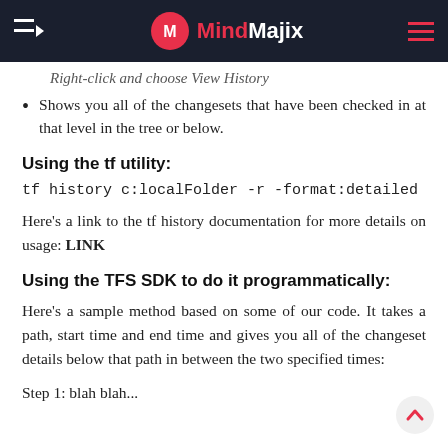MindMajix
Right-click and choose View History
Shows you all of the changesets that have been checked in at that level in the tree or below.
Using the tf utility:
tf history c:localFolder -r -format:detailed
Here's a link to the tf history documentation for more details on usage: LINK
Using the TFS SDK to do it programmatically:
Here's a sample method based on some of our code. It takes a path, start time and end time and gives you all of the changeset details below that path in between the two specified times:
Step 1: blah blah...